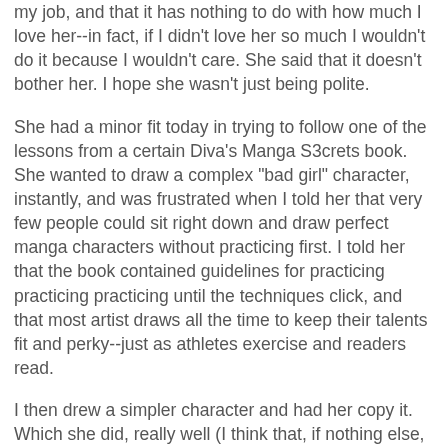my job, and that it has nothing to do with how much I love her--in fact, if I didn't love her so much I wouldn't do it because I wouldn't care. She said that it doesn't bother her. I hope she wasn't just being polite.
She had a minor fit today in trying to follow one of the lessons from a certain Diva's Manga S3crets book. She wanted to draw a complex "bad girl" character, instantly, and was frustrated when I told her that very few people could sit right down and draw perfect manga characters without practicing first. I told her that the book contained guidelines for practicing practicing practicing until the techniques click, and that most artist draws all the time to keep their talents fit and perky--just as athletes exercise and readers read.
I then drew a simpler character and had her copy it. Which she did, really well (I think that, if nothing else, a future as a tattoo artist awaits). But she was still irked. And I was looking into a mirror, because I also hate practicing anything--I want to DO it. Exercises and practice suck.
She wants to build a camera obscura tomorrow. Anyone want to come join in the fun?